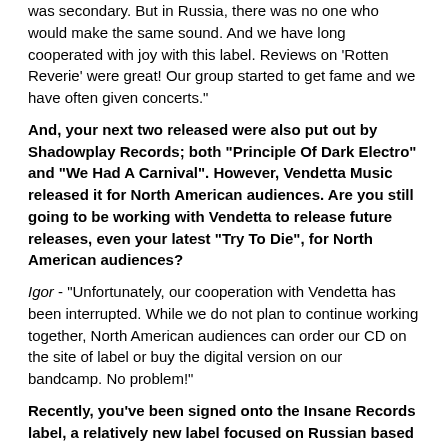was secondary. But in Russia, there was no one who would make the same sound. And we have long cooperated with joy with this label. Reviews on 'Rotten Reverie' were great! Our group started to get fame and we have often given concerts."
And, your next two released were also put out by Shadowplay Records; both "Principle Of Dark Electro" and "We Had A Carnival". However, Vendetta Music released it for North American audiences. Are you still going to be working with Vendetta to release future releases, even your latest "Try To Die", for North American audiences?
Igor - "Unfortunately, our cooperation with Vendetta has been interrupted. While we do not plan to continue working together, North American audiences can order our CD on the site of label or buy the digital version on our bandcamp. No problem!"
Recently, you've been signed onto the Insane Records label, a relatively new label focused on Russian based industrial acts. How did you get signed to the label?
Igor - "I received a letter from Eugene, director of the label. We